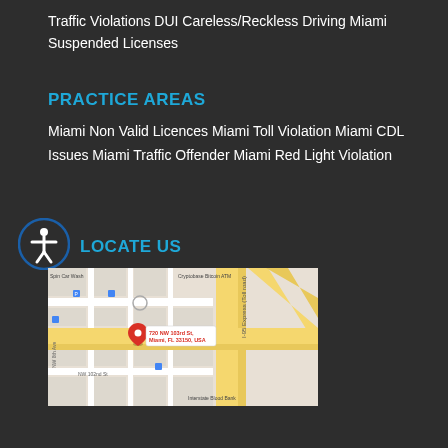Traffic Violations DUI Careless/Reckless Driving Miami Suspended Licenses
PRACTICE AREAS
Miami Non Valid Licences Miami Toll Violation Miami CDL Issues Miami Traffic Offender Miami Red Light Violation
LOCATE US
[Figure (map): Google Maps view showing location at 720 NW 103rd St, Miami, FL 33150, USA. Nearby landmarks include Spin Car Wash, Cryptobase Bitcoin ATM, I-95 Express (Toll road), Interstate Blood Bank, NW 102nd St, NW 8th Ave.]